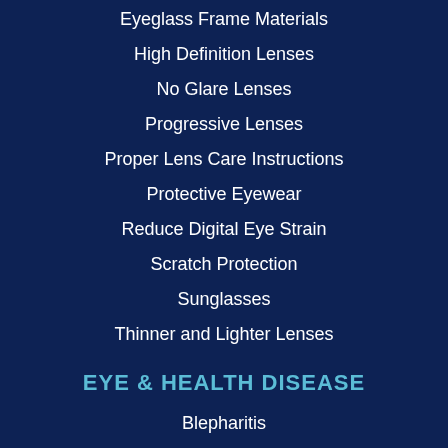Eyeglass Frame Materials
High Definition Lenses
No Glare Lenses
Progressive Lenses
Proper Lens Care Instructions
Protective Eyewear
Reduce Digital Eye Strain
Scratch Protection
Sunglasses
Thinner and Lighter Lenses
EYE & HEALTH DISEASE
Blepharitis
Cataracts